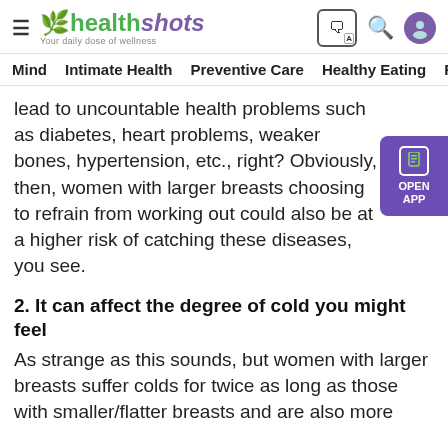healthshots — Your daily dose of wellness
Mind   Intimate Health   Preventive Care   Healthy Eating   F
lead to uncountable health problems such as diabetes, heart problems, weaker bones, hypertension, etc., right? Obviously, then, women with larger breasts choosing to refrain from working out could also be at a higher risk of catching these diseases, you see.
2. It can affect the degree of cold you might feel
As strange as this sounds, but women with larger breasts suffer colds for twice as long as those with smaller/flatter breasts and are also more